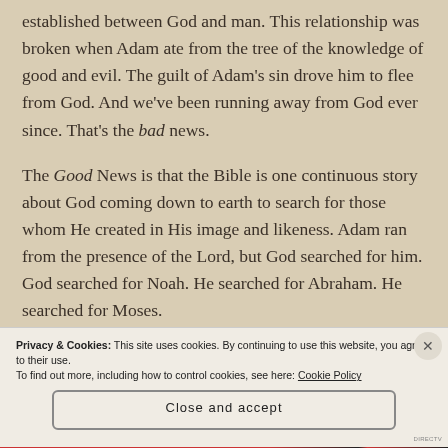established between God and man. This relationship was broken when Adam ate from the tree of the knowledge of good and evil. The guilt of Adam's sin drove him to flee from God. And we've been running away from God ever since. That's the bad news.
The Good News is that the Bible is one continuous story about God coming down to earth to search for those whom He created in His image and likeness. Adam ran from the presence of the Lord, but God searched for him. God searched for Noah. He searched for Abraham. He searched for Moses.
Privacy & Cookies: This site uses cookies. By continuing to use this website, you agree to their use.
To find out more, including how to control cookies, see here: Cookie Policy
Close and accept